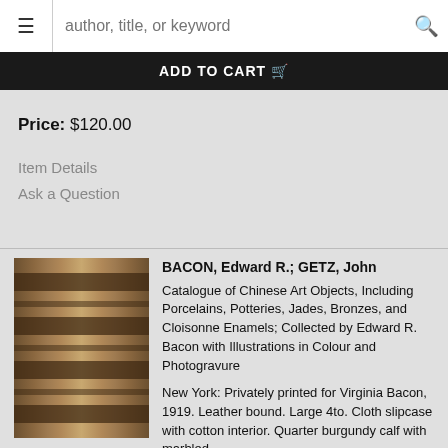≡  author, title, or keyword  🔍
ADD TO CART 🛒
Refine Search
Price: $120.00
Item Details
Ask a Question
[Figure (photo): Photo of leather-bound book spine standing upright on a wooden shelf]
BACON, Edward R.; GETZ, John
Catalogue of Chinese Art Objects, Including Porcelains, Potteries, Jades, Bronzes, and Cloisonne Enamels; Collected by Edward R. Bacon with Illustrations in Colour and Photogravure
New York: Privately printed for Virginia Bacon, 1919. Leather bound. Large 4to. Cloth slipcase with cotton interior. Quarter burgundy calf with marbled